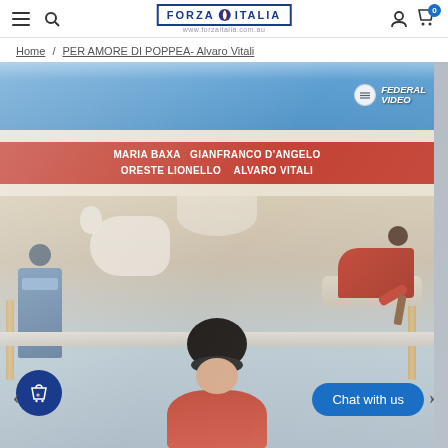Forza Italia — navigation bar with hamburger menu, search, logo, user icon, cart (0)
Home / PER AMORE DI POPPEA- Alvaro Vitali
[Figure (photo): Product page showing a DVD/VHS cover of 'Per Amore di Poppea' featuring Federal Video logo, with actors listed: Maria Baxa, Gianfranco D'Angelo, Oreste Lionello, Alvaro Vitali. The cover shows a Roman-themed scene with figures in ancient Roman costumes. A woman with dark curly hair is prominent in the foreground. Chat with us button and shopping bag icon visible as UI overlays.]